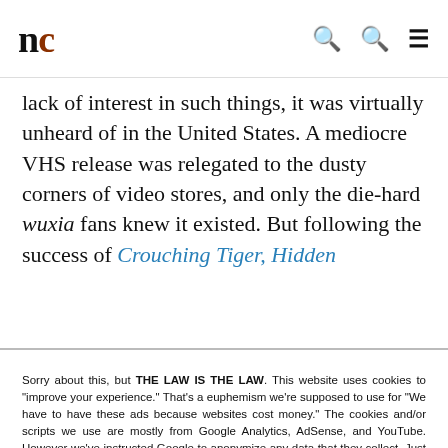nc [logo with search and menu icons]
lack of interest in such things, it was virtually unheard of in the United States. A mediocre VHS release was relegated to the dusty corners of video stores, and only the die-hard wuxia fans knew it existed. But following the success of Crouching Tiger, Hidden Dragon...
Sorry about this, but THE LAW IS THE LAW. This website uses cookies to "improve your experience." That's a euphemism we're supposed to use for "We have to have these ads because websites cost money." The cookies and/or scripts we use are mostly from Google Analytics, AdSense, and YouTube. However we've instructed Google to anonymize any data that they collect. Just so you know. We'll assume you're ok with this, but you can opt-out if you wish. Just bear in mind, certain embeds and such might not work.<br /> <br /> Also, please be aware that when we link out to products, we may earn a commission for doing so. Because we're certainly not doing it for our health. See our privacy policy & terms of use for more info than you would ever want to know. - Privacy Policy & Terms of Use